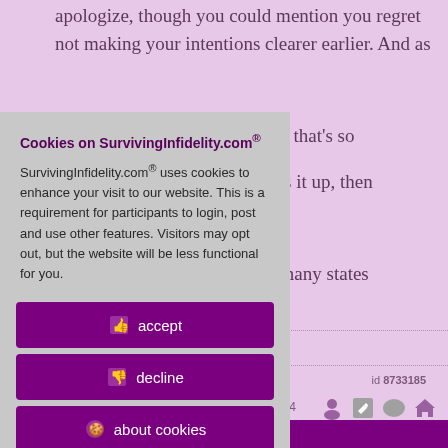apologize, though you could mention you regret not making your intentions clearer earlier. And as
, that's so
s it up, then
In many states
Cookies on SurvivingInfidelity.com®
SurvivingInfidelity.com® uses cookies to enhance your visit to our website. This is a requirement for participants to login, post and use other features. Visitors may opt out, but the website will be less functional for you.
👍 accept
👎 decline
🍪 about cookies
id 8733185
:14
Policy